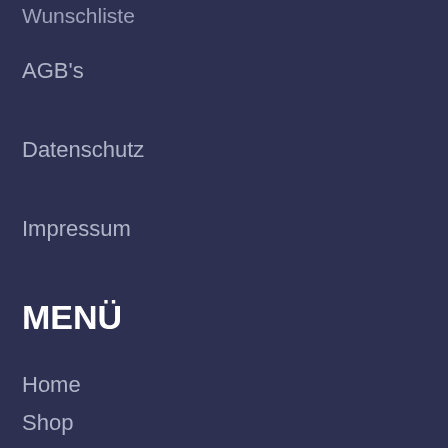Wunschliste
AGB's
Datenschutz
Impressum
MENÜ
Home
Shop
Blog
Über Uns
Kontakt